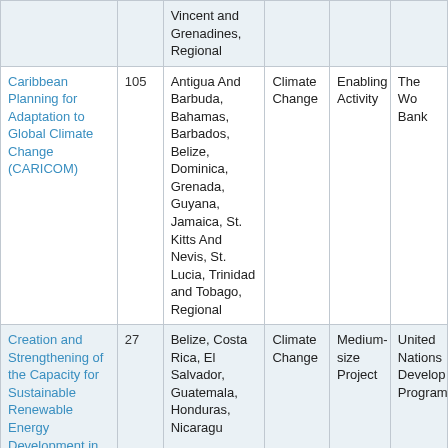| Project Name | ID | Countries | Focal Area | Project Type | Agency |
| --- | --- | --- | --- | --- | --- |
|  |  | Vincent and Grenadines, Regional |  |  |  |
| Caribbean Planning for Adaptation to Global Climate Change (CARICOM) | 105 | Antigua And Barbuda, Bahamas, Barbados, Belize, Dominica, Grenada, Guyana, Jamaica, St. Kitts And Nevis, St. Lucia, Trinidad and Tobago, Regional | Climate Change | Enabling Activity | The World Bank |
| Creation and Strengthening of the Capacity for Sustainable Renewable Energy Development in | 27 | Belize, Costa Rica, El Salvador, Guatemala, Honduras, Nicaragua | Climate Change | Medium-size Project | United Nations Development Program |